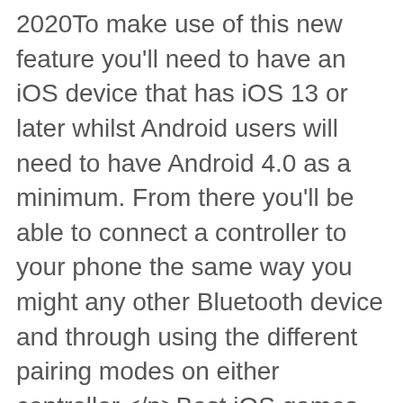2020To make use of this new feature you'll need to have an iOS device that has iOS 13 or later whilst Android users will need to have Android 4.0 as a minimum. From there you'll be able to connect a controller to your phone the same way you might any other Bluetooth device and through using the different pairing modes on either controller.</p>Best iOS games with controller support<p>If you're unfamiliar with MudRunner, it's an off-roading simulator where you'll look to make your way across tricky to navigate landscape through natural hazards such as mud and strong rivers that will make life more difficult.</p><p>There are a plethora of different vehicles to select from, with each having its own stats and different uses. So not